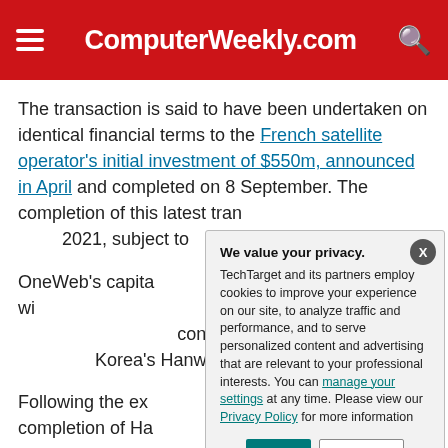ComputerWeekly.com
The transaction is said to have been undertaken on identical financial terms to the French satellite operator's initial investment of $550m, announced in April and completed on 8 September. The completion of this latest tran[saction is expected in early] 2021, subject to [regulatory approvals].
OneWeb's capita[l structure has been] strengthened wi[th investment from the UK and] Bharti, completin[g the funding needed to revive the] constellation, an[d attract further investors such as South] Korea's Hanwha[...]
Following the ex[ecution of this transaction,] completion of Ha[nwha's investment...] holding will make[...]
We value your privacy. TechTarget and its partners employ cookies to improve your experience on our site, to analyze traffic and performance, and to serve personalized content and advertising that are relevant to your professional interests. You can manage your settings at any time. Please view our Privacy Policy for more information